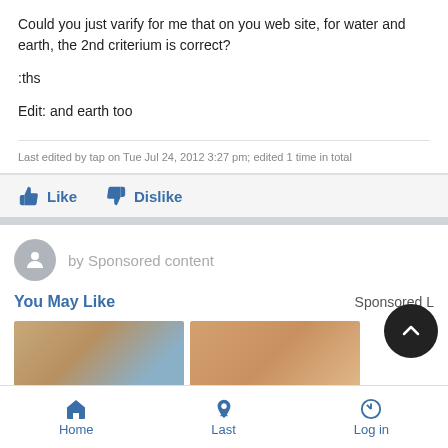Could you just varify for me that on you web site, for water and earth, the 2nd criterium is correct?
:ths
Edit: and earth too
Last edited by tap on Tue Jul 24, 2012 3:27 pm; edited 1 time in total
Like   Dislike
by Sponsored content
You May Like
Sponsored L
[Figure (photo): Two photo thumbnails side by side in sponsored content section]
Home   Last   Log in